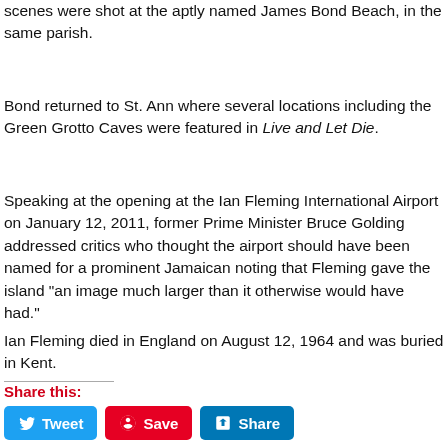scenes were shot at the aptly named James Bond Beach, in the same parish.
Bond returned to St. Ann where several locations including the Green Grotto Caves were featured in Live and Let Die.
Speaking at the opening at the Ian Fleming International Airport on January 12, 2011, former Prime Minister Bruce Golding addressed critics who thought the airport should have been named for a prominent Jamaican noting that Fleming gave the island "an image much larger than it otherwise would have had."
Ian Fleming died in England on August 12, 1964 and was buried in Kent.
Share this:
Tweet | Save | Share